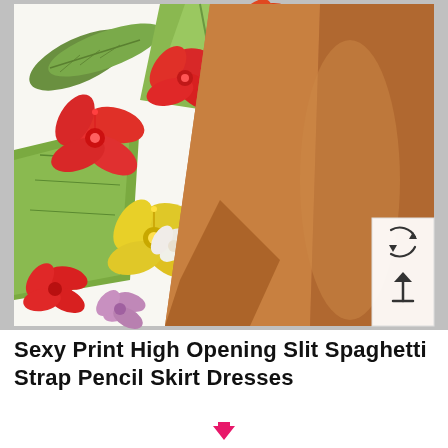[Figure (photo): Close-up photo of woman wearing a white floral print mini skirt/dress with red hibiscus flowers, yellow flowers, and green tropical leaves. High slit shows bare leg on right side. Gray background. UI buttons (rotate, upload) overlaid at bottom right of image.]
Sexy Print High Opening Slit Spaghetti Strap Pencil Skirt Dresses